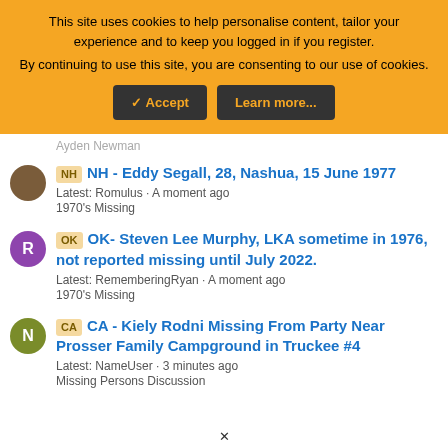This site uses cookies to help personalise content, tailor your experience and to keep you logged in if you register.
By continuing to use this site, you are consenting to our use of cookies.
[Accept] [Learn more...]
NH - Eddy Segall, 28, Nashua, 15 June 1977
Latest: Romulus · A moment ago
1970's Missing
OK- Steven Lee Murphy, LKA sometime in 1976, not reported missing until July 2022.
Latest: RememberingRyan · A moment ago
1970's Missing
CA - Kiely Rodni Missing From Party Near Prosser Family Campground in Truckee #4
Latest: NameUser · 3 minutes ago
Missing Persons Discussion